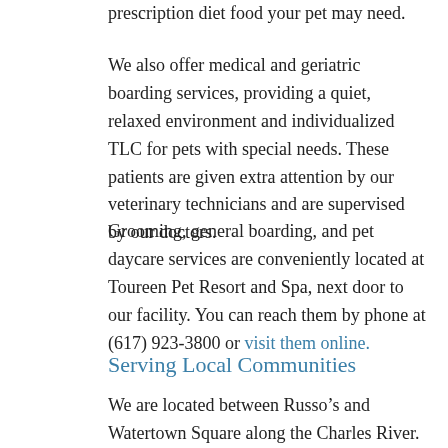prescription diet food your pet may need.
We also offer medical and geriatric boarding services, providing a quiet, relaxed environment and individualized TLC for pets with special needs. These patients are given extra attention by our veterinary technicians and are supervised by our doctors.
Grooming, general boarding, and pet daycare services are conveniently located at Toureen Pet Resort and Spa, next door to our facility. You can reach them by phone at (617) 923-3800 or visit them online.
Serving Local Communities
We are located between Russo’s and Watertown Square along the Charles River. Our location is easily accessible to all of Watertown as well as many communities in Boston, Brookline, Newton, Weston, Wayland, Lincoln, and Waltham, including: